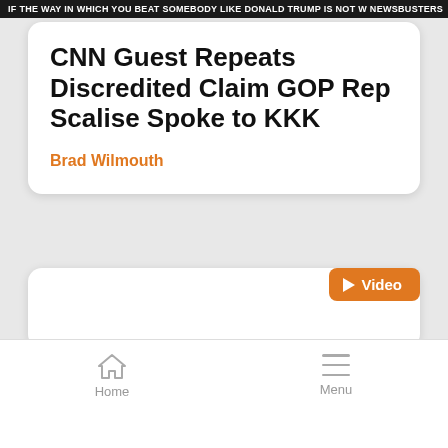IF THE WAY IN WHICH YOU BEAT SOMEBODY LIKE DONALD TRUMP IS NOT W NEWSBUSTERS
CNN Guest Repeats Discredited Claim GOP Rep Scalise Spoke to KKK
Brad Wilmouth
[Figure (screenshot): White card area with Video badge in orange at top right]
Home   Menu